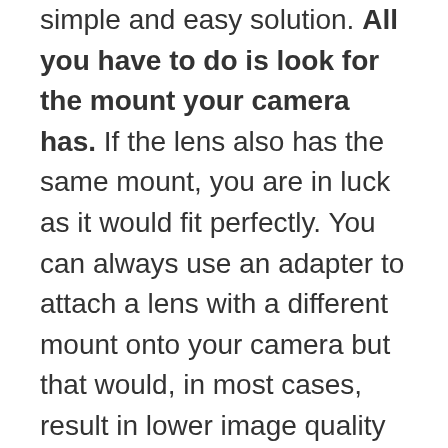simple and easy solution. All you have to do is look for the mount your camera has. If the lens also has the same mount, you are in luck as it would fit perfectly. You can always use an adapter to attach a lens with a different mount onto your camera but that would, in most cases, result in lower image quality and Autofocus performance.
Some adapter manufacturer solely dedicated to making mount adapter is making good progress in this department. But overall most of the adapters available today are expensive. The inexpensive ones, on the other hand, are almost always